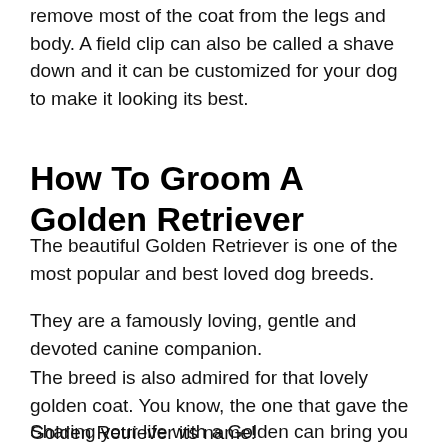remove most of the coat from the legs and body. A field clip can also be called a shave down and it can be customized for your dog to make it looking its best.
How To Groom A Golden Retriever
The beautiful Golden Retriever is one of the most popular and best loved dog breeds.
They are a famously loving, gentle and devoted canine companion.
The breed is also admired for that lovely golden coat. You know, the one that gave the Golden Retriever its name!
Sharing your life with a Golden can bring you countless hours of joy, but will you also be spending countless hours